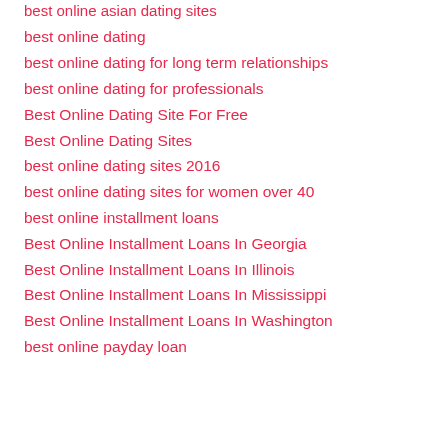best online asian dating sites
best online dating
best online dating for long term relationships
best online dating for professionals
Best Online Dating Site For Free
Best Online Dating Sites
best online dating sites 2016
best online dating sites for women over 40
best online installment loans
Best Online Installment Loans In Georgia
Best Online Installment Loans In Illinois
Best Online Installment Loans In Mississippi
Best Online Installment Loans In Washington
best online payday loan